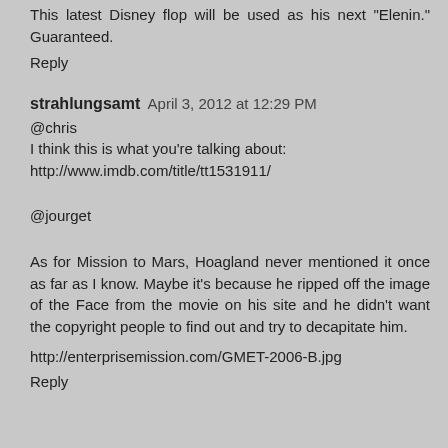This latest Disney flop will be used as his next "Elenin." Guaranteed.
Reply
strahlungsamt April 3, 2012 at 12:29 PM
@chris
I think this is what you're talking about:
http://www.imdb.com/title/tt1531911/
@jourget
As for Mission to Mars, Hoagland never mentioned it once as far as I know. Maybe it's because he ripped off the image of the Face from the movie on his site and he didn't want the copyright people to find out and try to decapitate him.
http://enterprisemission.com/GMET-2006-B.jpg
Reply